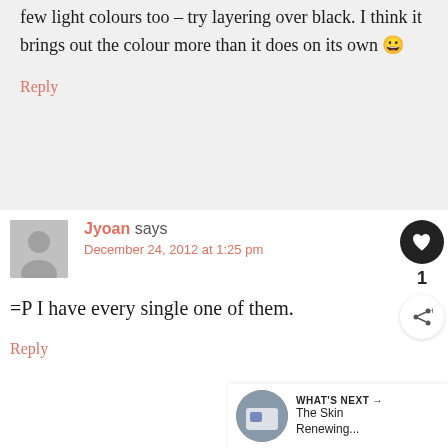few light colours too – try layering over black. I think it brings out the colour more than it does on its own 😀
Reply
Jyoan says
December 24, 2012 at 1:25 pm
=P I have every single one of them.
Reply